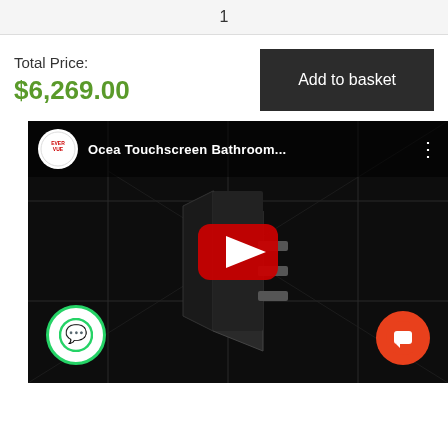1
Total Price:
$6,269.00
Add to basket
[Figure (screenshot): YouTube video embed showing 'Ocea Touchscreen Bathroom...' by EVERVUE channel, with a dark video thumbnail of a bathroom screen/mirror device and a red YouTube play button in the center.]